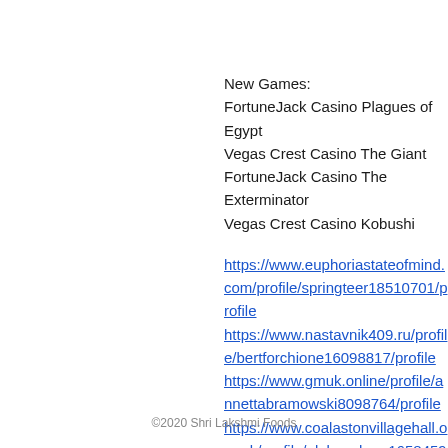New Games:
FortuneJack Casino Plagues of Egypt
Vegas Crest Casino The Giant
FortuneJack Casino The Exterminator
Vegas Crest Casino Kobushi
https://www.euphoriastateofmind.com/profile/springteer18510701/profile
https://www.nastavnik409.ru/profile/bertforchione16098817/profile
https://www.gmuk.online/profile/annettabramowski8098764/profile
https://www.coalastonvillagehall.org.uk/profile/elabeacham16584596/profile
©2020 Shri Lakshmi Foods